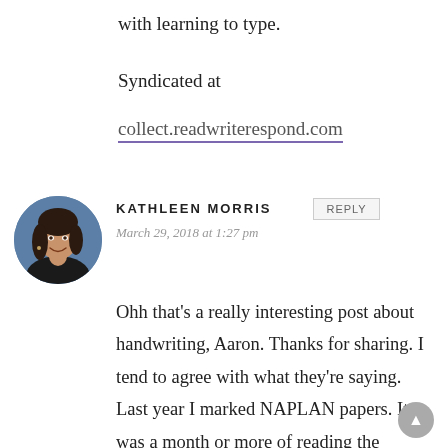with learning to type.
Syndicated at
collect.readwriterespond.com
[Figure (photo): Circular avatar photo of Kathleen Morris, a woman with dark hair smiling, wearing a dark top against a blue background.]
KATHLEEN MORRIS
March 29, 2018 at 1:27 pm
Ohh that's a really interesting post about handwriting, Aaron. Thanks for sharing. I tend to agree with what they're saying. Last year I marked NAPLAN papers. It was a month or more of reading the handwriting of students in year 3,5,7 and 9. Anyway,